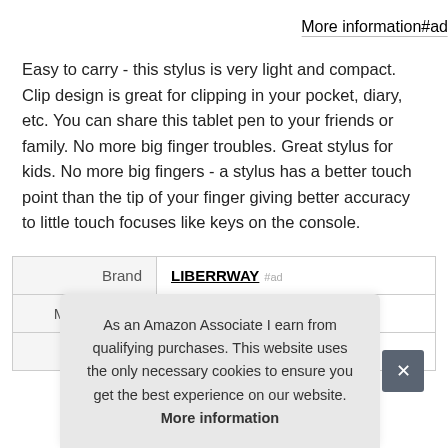More information #ad
Easy to carry - this stylus is very light and compact. Clip design is great for clipping in your pocket, diary, etc. You can share this tablet pen to your friends or family. No more big finger troubles. Great stylus for kids. No more big fingers - a stylus has a better touch point than the tip of your finger giving better accuracy to little touch focuses like keys on the console.
|  |  |
| --- | --- |
| Brand | LIBERRWAY #ad |
| Manufacturer | LIBERRWAY #ad |
As an Amazon Associate I earn from qualifying purchases. This website uses the only necessary cookies to ensure you get the best experience on our website. More information